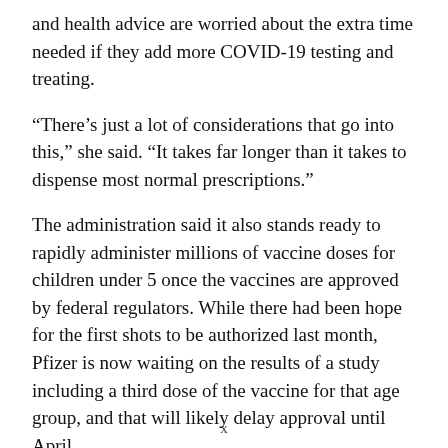and health advice are worried about the extra time needed if they add more COVID-19 testing and treating.
“There’s just a lot of considerations that go into this,” she said. “It takes far longer than it takes to dispense most normal prescriptions.”
The administration said it also stands ready to rapidly administer millions of vaccine doses for children under 5 once the vaccines are approved by federal regulators. While there had been hope for the first shots to be authorized last month, Pfizer is now waiting on the results of a study including a third dose of the vaccine for that age group, and that will likely delay approval until April.
As part of the new strategy, the administration is calling on
x